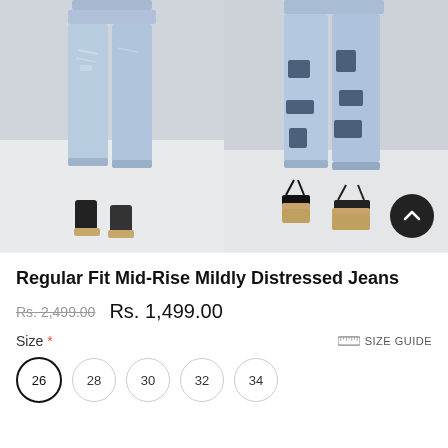[Figure (photo): Two product photos of women's distressed jeans. Left: front view of light blue distressed jeans on a model. Right: side/back view of the same style with dark patch details on the jeans. A dark circular scroll-up button appears in the bottom right corner.]
Regular Fit Mid-Rise Mildly Distressed Jeans
Rs. 2,499.00   Rs. 1,499.00
Size *   SIZE GUIDE
26
28
30
32
34